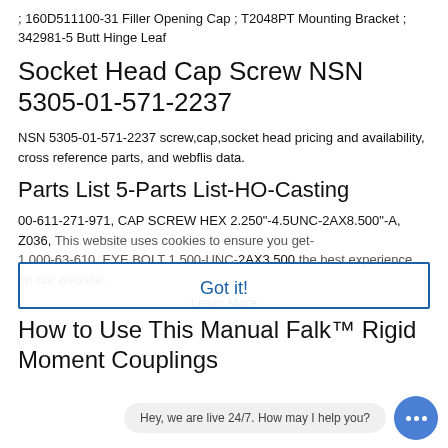; 160D511100-31 Filler Opening Cap ; T2048PT Mounting Bracket ; 342981-5 Butt Hinge Leaf
Socket Head Cap Screw NSN 5305-01-571-2237
NSN 5305-01-571-2237 screw,cap,socket head pricing and availability, cross reference parts, and webflis data.
Parts List 5-Parts List-HO-Casting
00-611-271-971, CAP SCREW HEX 2.250"-4.5UNC-2AX8.500"-A, Z036, [overlapping cookie text] ...
How to Use This Manual Falk™ Rigid Moment Couplings
Falk™ Rigid Moment [overlapping chat text] ar Type MCF • Sizes 2130 thru 2250 (Page 1 of 4) How to Use